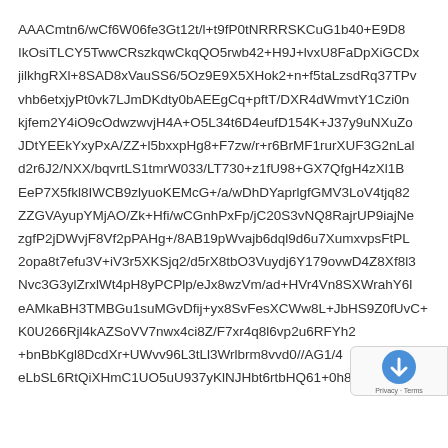AAACmtn6/wCf6W06fe3Gt12t/l+t9fP0tNRRRSKCuG1b40+E9D8
IkOsiTLCY5TwwCRszkqwCkqQO5rwb42+H9J+lvxU8FaDpXiGCDx
jilkhgRXl+8SAD8xVauSS6/5Oz9E9X5XHok2+n+f5taLzsdRq37TPv
vhb6etxjyPt0vk7LJmDKdty0bAEEgCq+pftT/DXR4dWmvtY1Czi0n
kjfem2Y4iO9cOdwzwvjH4A+O5L34t6D4eufD154K+J37y9uNXuZo
JDtYEEkYxyPxA/ZZ+l5bxxpHg8+F7zw/r+r6BrMF1rurXUF3G2nLal
d2r6J2/NXX/bqvrtLS1tmrW033/LT730+z1fU98+GX7QfgH4zXl1B
EeP7X5fkl8IWCB9zlyuoKEMcG+/a/wDhDYaprlgfGMV3LoV4tjq82
ZZGVAyupYMjAO/Zk+Hfi/wCGnhPxFp/jC20S3vNQ8RajrUP9iajNe
zgfP2jDWvjF8Vf2pPAHg+/8AB19pWvajb6dql9d6u7XumxvpsFtPL
2opa8t7efu3V+iV3r5XKSjq2/d5rX8tbO3Vuydj6Y179ovwD4Z8Xf8l3
Nvc3G3ylZrxlWt4pH8yPCPlp/eJx8wzVm/ad+HVr4Vn8SXWrahY6l
eAMkaBH3TMBGu1suMGvDfij+yx8SvFesXCWw8L+JbHS9Z0fUvC+
K0U266Rjl4kAZSoVV7nwx4ci8Z/F7xr4q8l6vp2u6RFYh2
+bnBbKgl8DcdXr+UWvv96L3tLl3Wrlbrm8vvd0//AG1/4
eLbSL6RtQiXHmC1UO5uU937yKlNJHbt6rtbHQ61+0h8PNC8O
[Figure (other): reCAPTCHA badge with upward arrow icon and Privacy/Terms text]